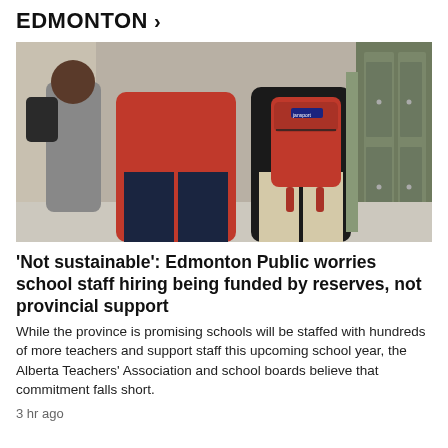EDMONTON >
[Figure (photo): Two students standing in a school hallway near lockers, one wearing a red hoodie and jeans, another wearing a black jacket with a red JanSport backpack.]
'Not sustainable': Edmonton Public worries school staff hiring being funded by reserves, not provincial support
While the province is promising schools will be staffed with hundreds of more teachers and support staff this upcoming school year, the Alberta Teachers' Association and school boards believe that commitment falls short.
3 hr ago